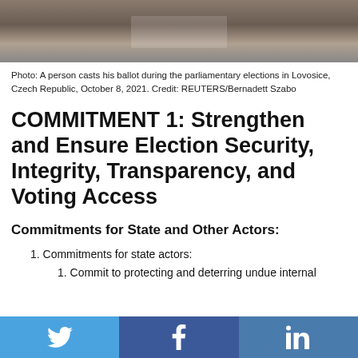[Figure (photo): A person casts his ballot during the parliamentary elections in Lovosice, Czech Republic, October 8, 2021. Photo shows a ballot box on a table with people in background.]
Photo: A person casts his ballot during the parliamentary elections in Lovosice, Czech Republic, October 8, 2021. Credit: REUTERS/Bernadett Szabo
COMMITMENT 1: Strengthen and Ensure Election Security, Integrity, Transparency, and Voting Access
Commitments for State and Other Actors:
1. Commitments for state actors:
1. Commit to protecting and deterring undue internal